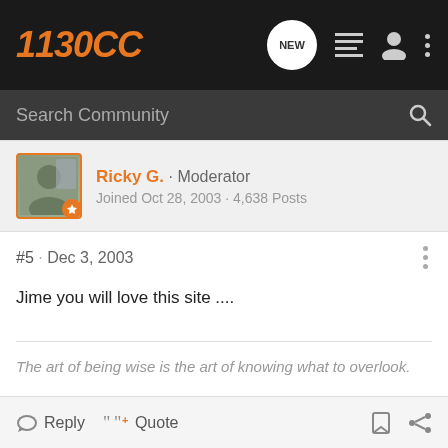1130CC
Search Community
Ricky G. · Moderator
Joined Oct 28, 2003 · 4,638 Posts
#5 · Dec 3, 2003
Jime you will love this site ....
The art of being wise is the art of knowing what to overlook.
Reply  Quote